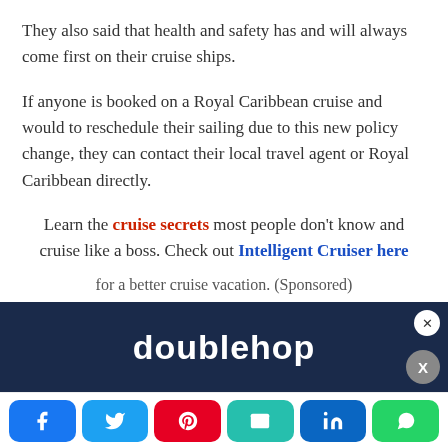They also said that health and safety has and will always come first on their cruise ships.
If anyone is booked on a Royal Caribbean cruise and would to reschedule their sailing due to this new policy change, they can contact their local travel agent or Royal Caribbean directly.
Learn the cruise secrets most people don't know and cruise like a boss. Check out Intelligent Cruiser here for a better cruise vacation. (Sponsored)
[Figure (screenshot): Advertisement banner for doublehop with close button]
[Figure (infographic): Social sharing buttons: Facebook, Twitter, Pinterest, Email, LinkedIn, WhatsApp]